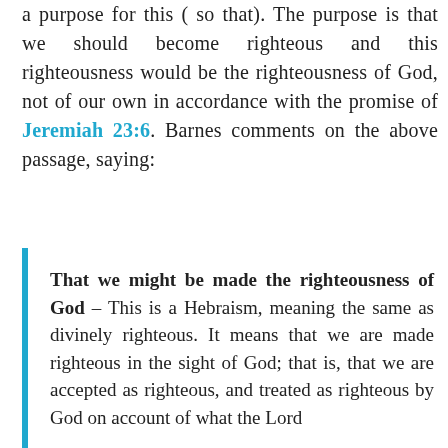a purpose for this ( so that). The purpose is that we should become righteous and this righteousness would be the righteousness of God, not of our own in accordance with the promise of Jeremiah 23:6. Barnes comments on the above passage, saying:
That we might be made the righteousness of God - This is a Hebraism, meaning the same as divinely righteous. It means that we are made righteous in the sight of God; that is, that we are accepted as righteous, and treated as righteous by God on account of what the Lord